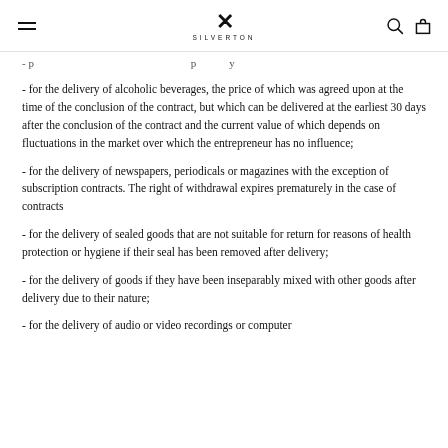SILVERTON
- for the delivery of alcoholic beverages, the price of which was agreed upon at the time of the conclusion of the contract, but which can be delivered at the earliest 30 days after the conclusion of the contract and the current value of which depends on fluctuations in the market over which the entrepreneur has no influence;
- for the delivery of newspapers, periodicals or magazines with the exception of subscription contracts. The right of withdrawal expires prematurely in the case of contracts
- for the delivery of sealed goods that are not suitable for return for reasons of health protection or hygiene if their seal has been removed after delivery;
- for the delivery of goods if they have been inseparably mixed with other goods after delivery due to their nature;
- for the delivery of audio or video recordings or computer